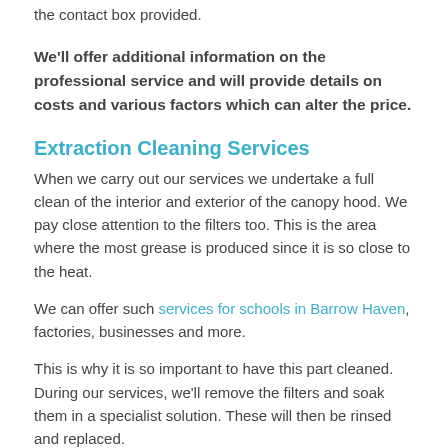the contact box provided.
We'll offer additional information on the professional service and will provide details on costs and various factors which can alter the price.
Extraction Cleaning Services
When we carry out our services we undertake a full clean of the interior and exterior of the canopy hood. We pay close attention to the filters too. This is the area where the most grease is produced since it is so close to the heat.
We can offer such services for schools in Barrow Haven, factories, businesses and more.
This is why it is so important to have this part cleaned. During our services, we'll remove the filters and soak them in a specialist solution. These will then be rinsed and replaced.
We degrease the interior to arm's length and further if possible. We also install access panels at regular intervals to help improve the airflow and maintain a perfect working temperature.